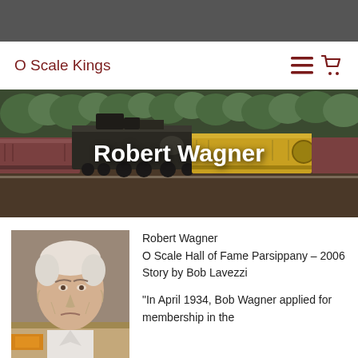O Scale Kings
Robert Wagner
[Figure (photo): Portrait photo of Robert Wagner, an elderly man with white hair wearing a light shirt]
Robert Wagner
O Scale Hall of Fame Parsippany – 2006
Story by Bob Lavezzi

"In April 1934, Bob Wagner applied for membership in the